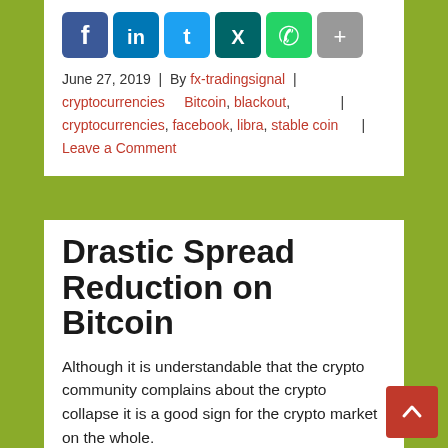[Figure (other): Social share icons row (Facebook, LinkedIn, Twitter, Xing, WhatsApp, Share) at top of card]
June 27, 2019 | By fx-tradingsignal | cryptocurrencies Bitcoin, blackout, cryptocurrencies, facebook, libra, stable coin Leave a Comment
Drastic Spread Reduction on Bitcoin
Although it is understandable that the crypto community complains about the crypto collapse it is a good sign for the crypto market on the whole.
[Figure (other): Social share icons row (Facebook, LinkedIn, Twitter, Xing, WhatsApp, Share) at bottom of card]